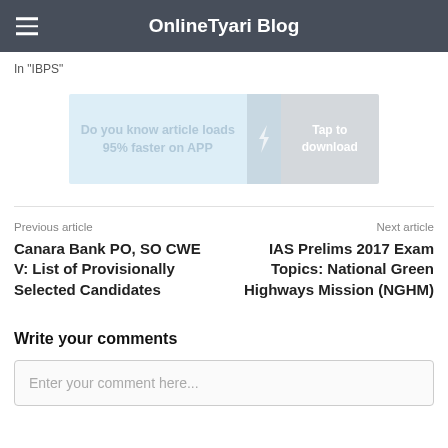OnlineTyari Blog
In "IBPS"
[Figure (infographic): App download promotional banner: 'Do you know article loads 95% faster on APP' with 'Tap to download' button and lightning bolt icon]
Previous article
Next article
Canara Bank PO, SO CWE V: List of Provisionally Selected Candidates
IAS Prelims 2017 Exam Topics: National Green Highways Mission (NGHM)
Write your comments
Enter your comment here...